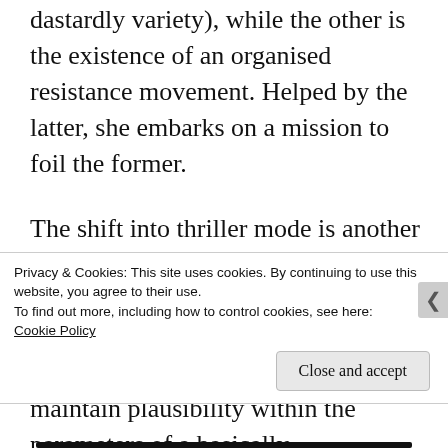(which is, it goes without saying, of the dastardly variety), while the other is the existence of an organised resistance movement. Helped by the latter, she embarks on a mission to foil the former.
The shift into thriller mode is another reason why the book has attracted criticism from reviewers. As the Washington Post commented, the trick with speculative fiction is to maintain plausibility within the parameters of a basically impossible scenario, and for the last quarter of
Privacy & Cookies: This site uses cookies. By continuing to use this website, you agree to their use.
To find out more, including how to control cookies, see here:
Cookie Policy
Close and accept